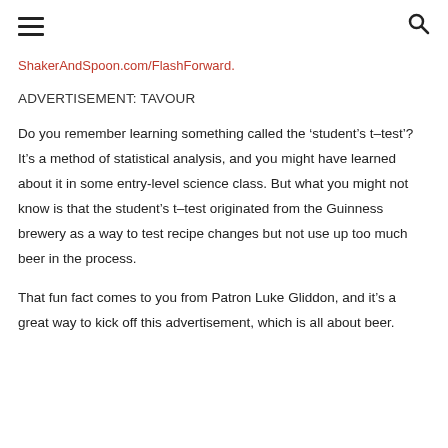[hamburger menu icon] [search icon]
ShakerAndSpoon.com/FlashForward.
ADVERTISEMENT: TAVOUR
Do you remember learning something called the ‘student’s t–test’? It’s a method of statistical analysis, and you might have learned about it in some entry-level science class. But what you might not know is that the student’s t–test originated from the Guinness brewery as a way to test recipe changes but not use up too much beer in the process.
That fun fact comes to you from Patron Luke Gliddon, and it’s a great way to kick off this advertisement, which is all about beer.